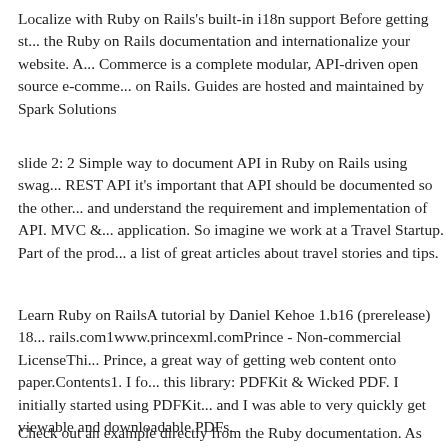Localize with Ruby on Rails's built-in i18n support Before getting started, please read the Ruby on Rails documentation and internationalize your website. Solidus / Spree Commerce is a complete modular, API-driven open source e-commerce solution built on Rails. Guides are hosted and maintained by Spark Solutions
slide 2: 2 Simple way to document API in Ruby on Rails using swagger. When building REST API it's important that API should be documented so the other developers can read and understand the requirement and implementation of API. MVC & Rails is the perfect application. So imagine we work at a Travel Startup. Part of the product is a list of great articles about travel stories and tips.
Learn Ruby on RailsA tutorial by Daniel Kehoe 1.b16 (prerelease) 18 railstutorial.org rails.com1www.princexml.comPrince - Non-commercial LicenseThis PDF was generated by Prince, a great way of getting web content onto paper.Contents1. I found two gems for this library: PDFKit & Wicked PDF. I initially started using PDFKit and I was able to very quickly get viewable and downloadable PDFs.
Check out an example directly from the Ruby documentation. As you can see from the documentation, the string object in Ruby has a ton of methods that